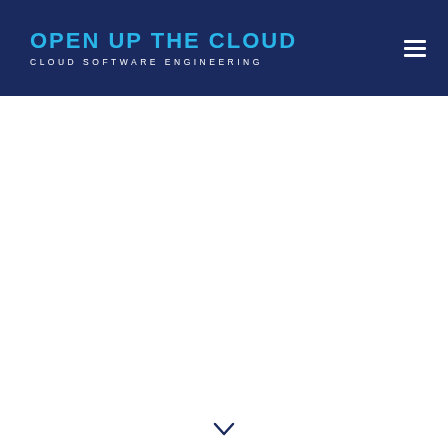OPEN UP THE CLOUD — CLOUD SOFTWARE ENGINEERING
[Figure (other): Chevron/arrow pointing downward at the bottom center of the page]